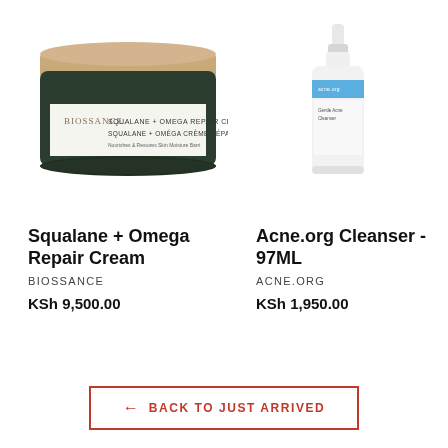[Figure (photo): Biossance Squalane + Omega Repair Cream jar with gold lid and dark green body, label visible]
[Figure (photo): Acne.org Cleanser 97ML white pump bottle with blue label strip]
Squalane + Omega Repair Cream
BIOSSANCE
KSh 9,500.00
Acne.org Cleanser - 97ML
ACNE.ORG
KSh 1,950.00
← BACK TO JUST ARRIVED